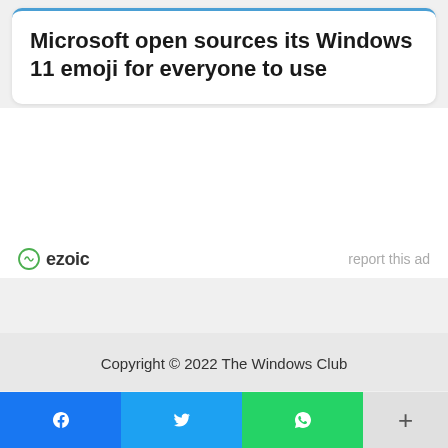Microsoft open sources its Windows 11 emoji for everyone to use
[Figure (logo): Ezoic logo with green circular icon and text 'ezoic']
report this ad
Copyright © 2022 The Windows Club
[Figure (infographic): Social share bar with Facebook, Twitter, WhatsApp buttons and a plus button]